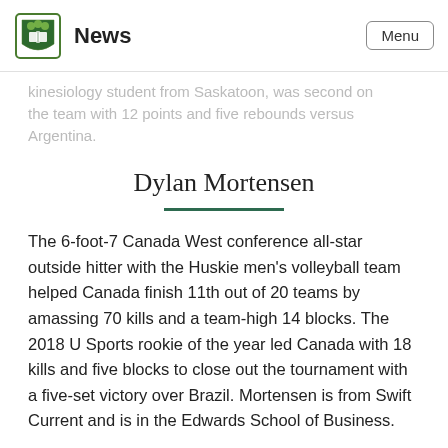News | Menu
kinesiology student from Saskatoon, was second on the team with 12 points and five rebounds versus Argentina.
Dylan Mortensen
The 6-foot-7 Canada West conference all-star outside hitter with the Huskie men's volleyball team helped Canada finish 11th out of 20 teams by amassing 70 kills and a team-high 14 blocks. The 2018 U Sports rookie of the year led Canada with 18 kills and five blocks to close out the tournament with a five-set victory over Brazil. Mortensen is from Swift Current and is in the Edwards School of Business.